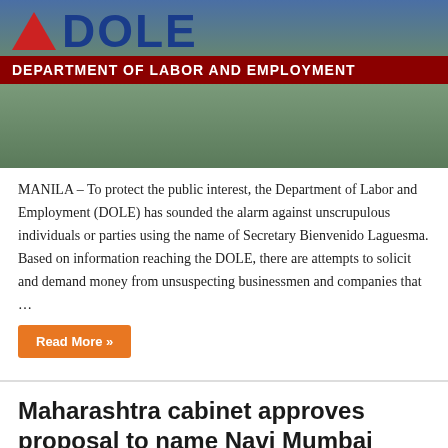[Figure (photo): Photo of DOLE (Department of Labor and Employment) signage with red triangle logo, large blue DOLE letters, and dark red banner reading DEPARTMENT OF LABOR AND EMPLOYMENT, with green bushes in the foreground]
MANILA – To protect the public interest, the Department of Labor and Employment (DOLE) has sounded the alarm against unscrupulous individuals or parties using the name of Secretary Bienvenido Laguesma. Based on information reaching the DOLE, there are attempts to solicit and demand money from unsuspecting businessmen and companies that …
Read More »
Maharashtra cabinet approves proposal to name Navi Mumbai International Airport after DB Patil
July 16, 2022   Motorsport   Comments Off
[Figure (photo): Partial photo of a construction site sign reading CIDCO SITE FOR with blue background, sky visible above]